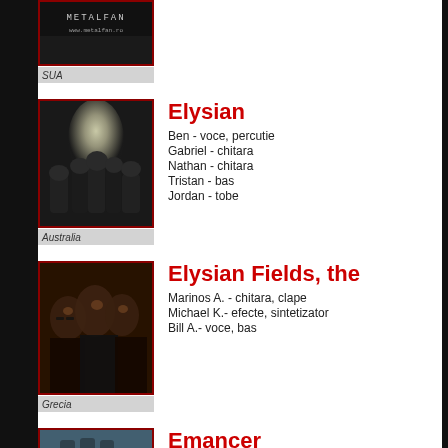[Figure (photo): Partial top image with dark background and metalfan.ro logo, band photo cropped at top]
SUA
[Figure (photo): Band photo of Elysian - group of people in dark corridor with bright light]
Elysian
Ben - voce, percutie
Gabriel - chitara
Nathan - chitara
Tristan - bas
Jordan - tobe
Australia
[Figure (photo): Band photo of Elysian Fields, the - dark toned group portrait]
Elysian Fields, the
Marinos A. - chitara, clape
Michael K.- efecte, sintetizator
Bill A.- voce, bas
Grecia
[Figure (photo): Partial bottom image of Emancer band]
Emancer